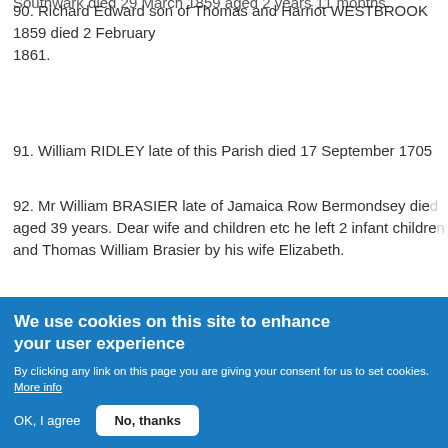Southwark died 29 March 1859 aged 2 years 11 months.
90. Richard Edward son of Thomas and Harriot WESTBROOK 1859 died 2 February 1861.
91. William RIDLEY late of this Parish died 17 September 1705
92. Mr William BRASIER late of Jamaica Row Bermondsey died aged 39 years. Dear wife and children etc he left 2 infant children and Thomas William Brasier by his wife Elizabeth.
93. Mary BRASIER wife of William Brasier of Greenhithe in this
We use cookies on this site to enhance your user experience
By clicking any link on this page you are giving your consent for us to set cookies. More info
OK, I agree
No, thanks